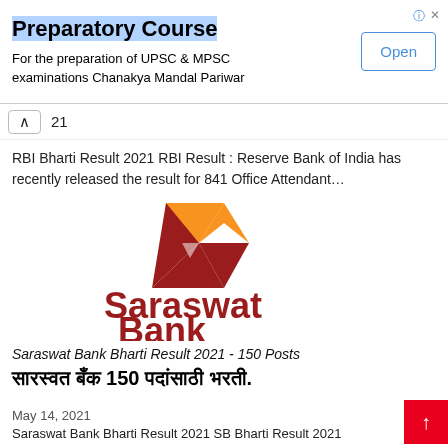[Figure (infographic): Advertisement banner for Preparatory Course with Open button. Title: Preparatory Course. Subtitle: For the preparation of UPSC & MPSC examinations Chanakya Mandal Pariwar.]
21
RBI Bharti Result 2021 RBI Result : Reserve Bank of India has recently released the result for 841 Office Attendant…
[Figure (logo): Saraswat Bank logo with orange and dark red geometric mountain/chevron shape above the text 'Saraswat Bank' in dark red.]
Saraswat Bank Bharti Result 2021 - 150 Posts
सारस्वत बँक 150 पदांसाठी भरती.
May 14, 2021
Saraswat Bank Bharti Result 2021 SB Bharti Result 2021